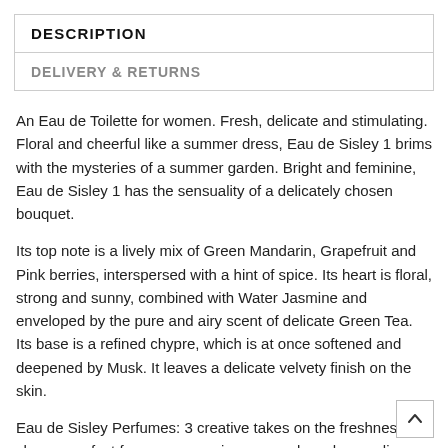DESCRIPTION
DELIVERY & RETURNS
An Eau de Toilette for women. Fresh, delicate and stimulating. Floral and cheerful like a summer dress, Eau de Sisley 1 brims with the mysteries of a summer garden. Bright and feminine, Eau de Sisley 1 has the sensuality of a delicately chosen bouquet.
Its top note is a lively mix of Green Mandarin, Grapefruit and Pink berries, interspersed with a hint of spice. Its heart is floral, strong and sunny, combined with Water Jasmine and enveloped by the pure and airy scent of delicate Green Tea. Its base is a refined chypre, which is at once softened and deepened by Musk. It leaves a delicate velvety finish on the skin.
Eau de Sisley Perfumes: 3 creative takes on the freshness of chypre, perfect for every occasion or mood, each revealing another facet of this classic scent.